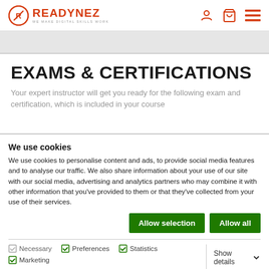READYNEZ — WE MAKE DIGITAL SKILLS WORK
EXAMS & CERTIFICATIONS
Your expert instructor will get you ready for the following exam and certification, which is included in your course
We use cookies
We use cookies to personalise content and ads, to provide social media features and to analyse our traffic. We also share information about your use of our site with our social media, advertising and analytics partners who may combine it with other information that you've provided to them or that they've collected from your use of their services.
Allow selection | Allow all
Necessary | Preferences | Statistics | Marketing | Show details